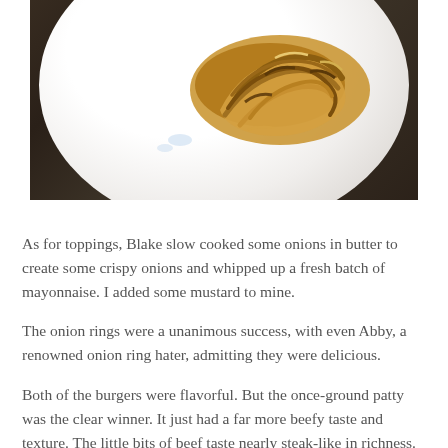[Figure (photo): Photo of crispy fried onion rings on a white plate, placed on a dark surface, viewed from above at an angle.]
As for toppings, Blake slow cooked some onions in butter to create some crispy onions and whipped up a fresh batch of mayonnaise.  I added some mustard to mine.
The onion rings were a unanimous success, with even Abby, a renowned onion ring hater, admitting they were delicious.
Both of the burgers were flavorful.  But the once-ground patty was the clear winner.  It just had a far more beefy taste and texture.  The little bits of beef taste nearly steak-like in richness.  If this showed me anything, it's that grinding my own meat is the only way to go.
But like mentioned above, the fat was overwhelming.  And after